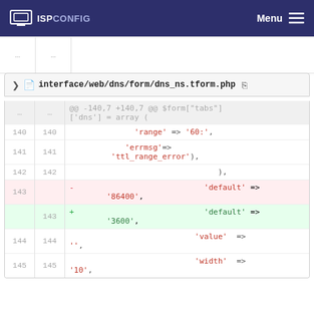ISPConfig  Menu
[Figure (screenshot): Ellipsis rows from a previous file diff block]
interface/web/dns/form/dns_ns.tform.php
@@ -140,7 +140,7 @@ $form["tabs"]['dns'] = array (
140 140   'range' => '60:',
141 141   'errmsg'=> 'ttl_range_error'),
142 142   ),
143    - 'default' => '86400',
143 + 'default' => '3600',
144 144   'value'  => '',
145 145   'width'  => '10',